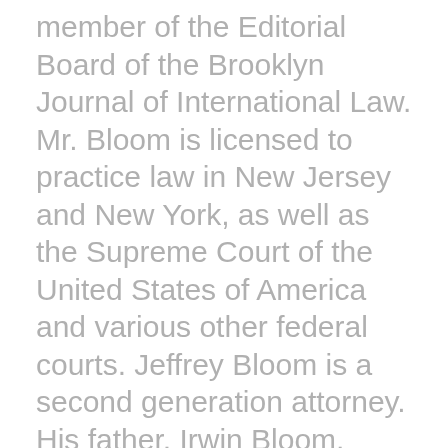member of the Editorial Board of the Brooklyn Journal of International Law. Mr. Bloom is licensed to practice law in New Jersey and New York, as well as the Supreme Court of the United States of America and various other federal courts. Jeffrey Bloom is a second generation attorney. His father, Irwin Bloom, graduated New York University Law School and practiced in New York City for over forty (40) years, primarily representing defendants and insurance companies. As a young man, Jeffrey Bloom realized that he did